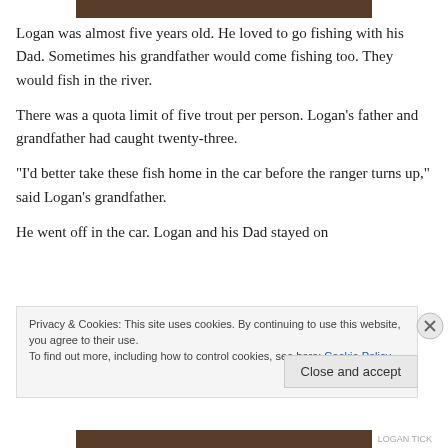[Figure (photo): Partial photo strip at top of page showing a dark brown/wooden surface]
Logan was almost five years old. He loved to go fishing with his Dad. Sometimes his grandfather would come fishing too. They would fish in the river.
There was a quota limit of five trout per person. Logan’s father and grandfather had caught twenty-three.
“I’d better take these fish home in the car before the ranger turns up,” said Logan’s grandfather.
He went off in the car. Logan and his Dad stayed on
Privacy & Cookies: This site uses cookies. By continuing to use this website, you agree to their use.
To find out more, including how to control cookies, see here: Cookie Policy
Close and accept